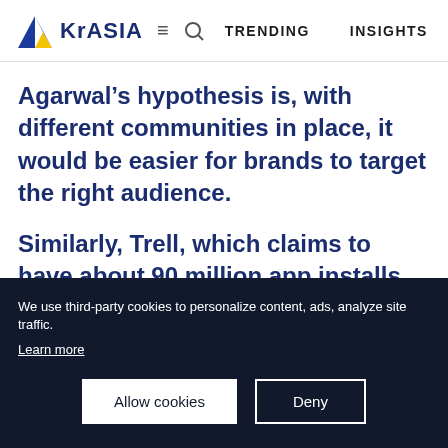KrASIA  =  🔍  TRENDING    INSIGHTS
Agarwal's hypothesis is, with different communities in place, it would be easier for brands to target the right audience.
Similarly, Trell, which claims to have about 90 million app installs, has ingeniously positioned itself as a social commerce platform where users share
We use third-party cookies to personalize content, ads, analyze site traffic. Learn more
Allow cookies    Deny